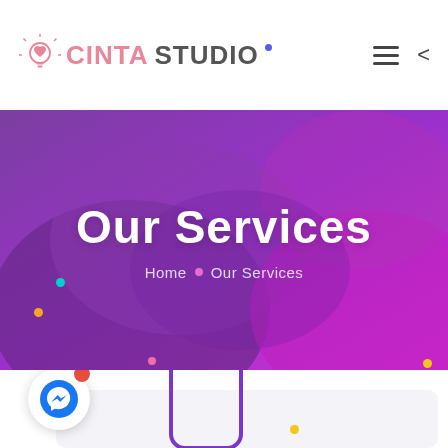[Figure (logo): Cinta Studio logo with lightbulb/heart icon, text 'CINTA STUDIO']
[Figure (illustration): Hero banner with purple-magenta gradient blob background, title 'Our Services', breadcrumb 'Home • Our Services', decorative colored dots]
[Figure (screenshot): Services section below hero showing light gray card area, messenger chat button with red badge, and purple phone mockup illustration, with decorative colored dots]